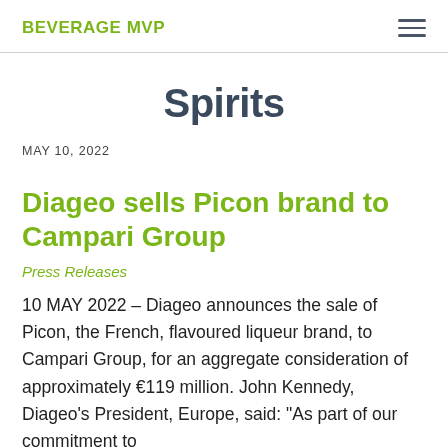BEVERAGE MVP
Spirits
MAY 10, 2022
Diageo sells Picon brand to Campari Group
Press Releases
10 MAY 2022 – Diageo announces the sale of Picon, the French, flavoured liqueur brand, to Campari Group, for an aggregate consideration of approximately €119 million. John Kennedy, Diageo's President, Europe, said: "As part of our commitment to